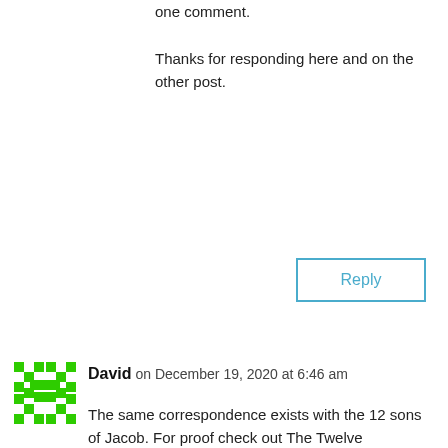one comment.

Thanks for responding here and on the other post.
Reply
David on December 19, 2020 at 6:46 am
The same correspondence exists with the 12 sons of Jacob. For proof check out The Twelve Constellations in the Tribes by Theo B. Wilson... the book just came out. It shows the correlations and their meanings... interesting read. Not quite finished reading yet.